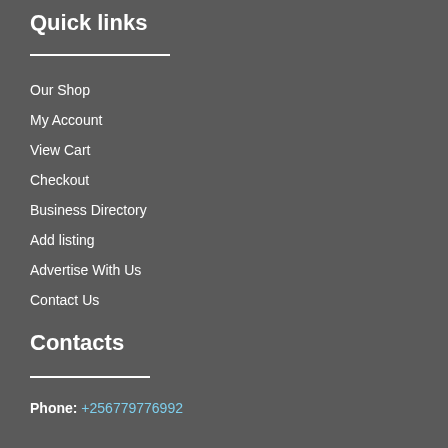Quick links
Our Shop
My Account
View Cart
Checkout
Business Directory
Add listing
Advertise With Us
Contact Us
Contacts
Phone: +256779776992